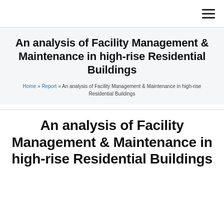≡
An analysis of Facility Management & Maintenance in high-rise Residential Buildings
Home » Report » An analysis of Facility Management & Maintenance in high-rise Residential Buildings
An analysis of Facility Management & Maintenance in high-rise Residential Buildings